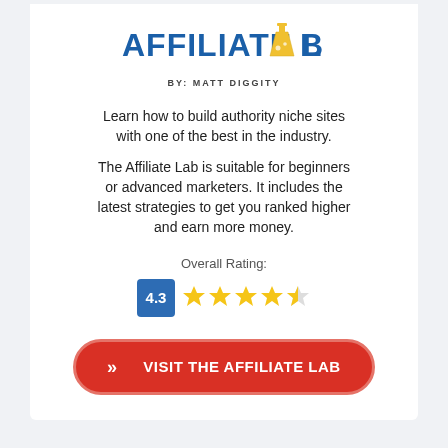[Figure (logo): Affiliate Lab logo with blue bold text 'AFFILIATE LAB' and a yellow laboratory flask icon replacing the 'A' in LAB, subtitle 'BY: MATT DIGGITY']
Learn how to build authority niche sites with one of the best in the industry.
The Affiliate Lab is suitable for beginners or advanced marketers. It includes the latest strategies to get you ranked higher and earn more money.
Overall Rating:
[Figure (infographic): Rating display: blue box with '4.3' score next to 4 full gold stars and 1 half gold star]
[Figure (infographic): Red rounded button with double chevron arrows and text 'VISIT THE AFFILIATE LAB' in white bold uppercase]